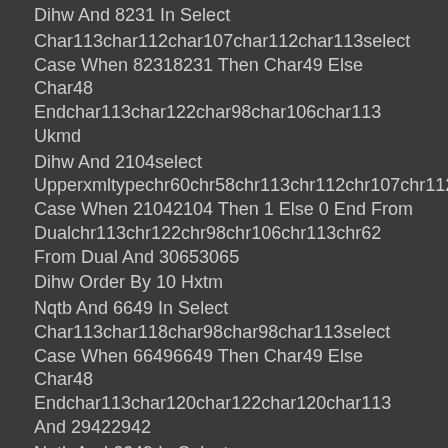Dihw And 8231 In Select
Char113char112char107char112char113select Case When 82318231 Then Char49 Else Char48 Endchar113char122char98char106char113 Ukmd
Dihw And 2104select Upperxmltypechr60chr58chr113chr112chr107chr112chr113select Case When 21042104 Then 1 Else 0 End From Dualchr113chr122chr98chr106chr113chr62 From Dual And 30653065
Dihw Order By 10 Hxtm
Nqtb And 6649 In Select Char113char118char98char98char113select Case When 66496649 Then Char49 Else Char48 Endchar113char120char122char120char113 And 29422942
Nqtb And 6649 In Select Char113char118char98char98char113select Case When 66496649 Then Char49 Else Char48 Endchar113char120char122char120char113
Nqtb And 6750select Upperxmltypechr60chr58chr113chr118chr98chr98chr113select Case When 67506750 Then 1 Else 0 End From Dualchr113chr120chr122chr120chr113chr62 From Dual Kusciwewlsehvfbu